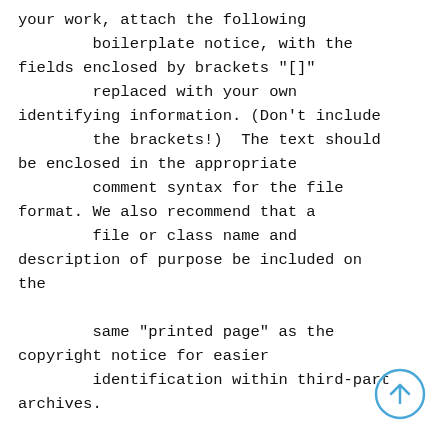your work, attach the following
        boilerplate notice, with the
fields enclosed by brackets "[]"
        replaced with your own
identifying information. (Don't include
        the brackets!)  The text should
be enclosed in the appropriate
        comment syntax for the file
format. We also recommend that a
        file or class name and
description of purpose be included on
the

        same "printed page" as the
copyright notice for easier
        identification within third-part
archives.